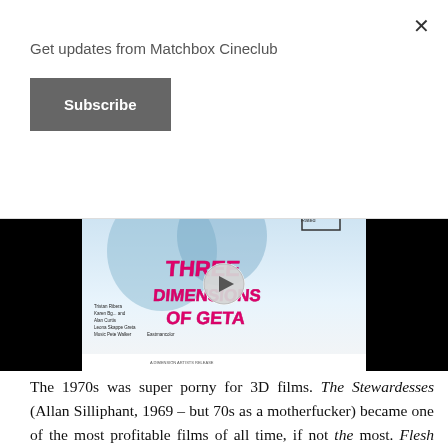Get updates from Matchbox Cineclub
Subscribe
[Figure (screenshot): Video player showing movie poster for 'Three Dimensions of Geta' (or similar 3D film) with black letterbox bars on left and right, and a play button overlay in the center.]
The 1970s was super porny for 3D films. The Stewardesses (Allan Silliphant, 1969 – but 70s as a motherfucker) became one of the most profitable films of all time, if not the most. Flesh For Frankenstein (Paul Morissey, 1973) had a good